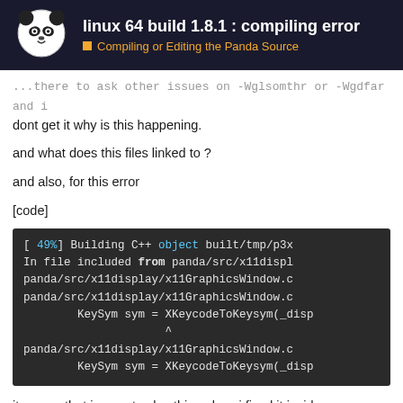linux 64 build 1.8.1 : compiling error — Compiling or Editing the Panda Source
...there to ask other issues on -Wglsomthr or -Wgdfar and i dont get it why is this happening.
and what does this files linked to ?
and also, for this error
[code]
[Figure (screenshot): Code block showing: [ 49%] Building C++ object built/tmp/p3x
In file included from panda/src/x11displ
panda/src/x11display/x11GraphicsWindow.c
panda/src/x11display/x11GraphicsWindow.c
    KeySym sym = XKeycodeToKeysym(_disp
                 ^
panda/src/x11display/x11GraphicsWindow.c
    KeySym sym = XKeycodeToKeysym(_disp]
it seems that i cannot solve this unless i fixed it inside